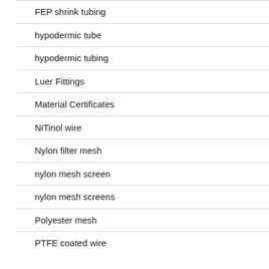FEP shrink tubing
hypodermic tube
hypodermic tubing
Luer Fittings
Material Certificates
NiTinol wire
Nylon filter mesh
nylon mesh screen
nylon mesh screens
Polyester mesh
PTFE coated wire